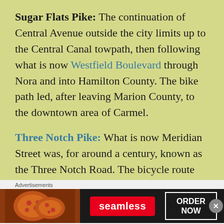Sugar Flats Pike: The continuation of Central Avenue outside the city limits up to the Central Canal towpath, then following what is now Westfield Boulevard through Nora and into Hamilton County. The bike path led, after leaving Marion County, to the downtown area of Carmel.
Three Notch Pike: What is now Meridian Street was, for around a century, known as the Three Notch Road. The bicycle route followed Meridian Street from the Bluff Road intersection down to the county line.
Advertisements